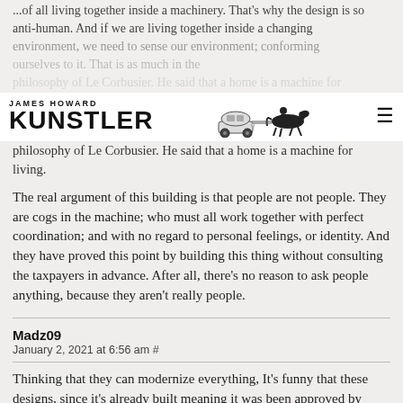...of all living together inside a machinery. That's why the design is so anti-human. And if we are living together inside a changing environment, we need to sense our environment; conforming ourselves to it. That is as much in the philosophy of Le Corbusier. He said that a home is a machine for living.
JAMES HOWARD KUNSTLER
The real argument of this building is that people are not people. They are cogs in the machine; who must all work together with perfect coordination; and with no regard to personal feelings, or identity. And they have proved this point by building this thing without consulting the taxpayers in advance. After all, there’s no reason to ask people anything, because they aren’t really people.
Madz09
January 2, 2021 at 6:56 am #
Thinking that they can modernize everything, It’s funny that these designs, since it’s already built meaning it was been approved by many. What are they thinking? Love this forum of yours, love a good laugh every month, that is why I always come back here. Anyway, will be glad too, it you could maybe download these games that are free. The games are Plants vs. Zombies – https://chrome.google.com/webstore/detail/plants-vs-zombies/ejigcfelmldlidangkhdecflbgdglkja and Eyes – https://games.lol/eyes-the-scary-horror-game-adventure/, a horror